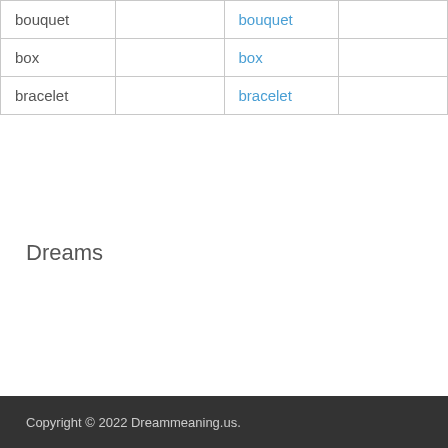| bouquet |  | bouquet |  |
| box |  | box |  |
| bracelet |  | bracelet |  |
Dreams
Copyright © 2022 Dreammeaning.us.